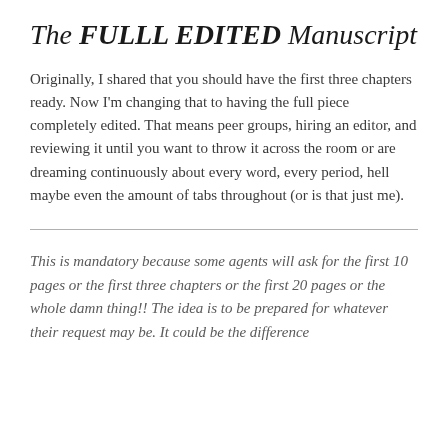The FULLL EDITED Manuscript
Originally, I shared that you should have the first three chapters ready. Now I'm changing that to having the full piece completely edited. That means peer groups, hiring an editor, and reviewing it until you want to throw it across the room or are dreaming continuously about every word, every period, hell maybe even the amount of tabs throughout (or is that just me).
This is mandatory because some agents will ask for the first 10 pages or the first three chapters or the first 20 pages or the whole damn thing!! The idea is to be prepared for whatever their request may be. It could be the difference